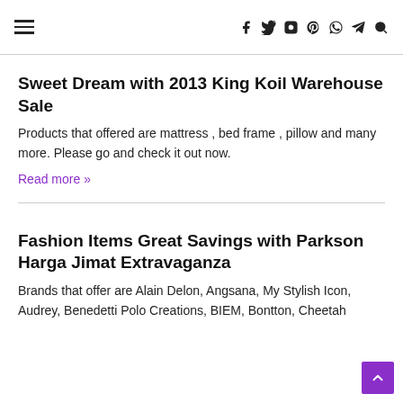≡  f  Twitter  Instagram  Pinterest  WhatsApp  Telegram  Search
Sweet Dream with 2013 King Koil Warehouse Sale
Products that offered are mattress , bed frame , pillow and many more. Please go and check it out now.
Read more »
Fashion Items Great Savings with Parkson Harga Jimat Extravaganza
Brands that offer are Alain Delon, Angsana, My Stylish Icon, Audrey, Benedetti Polo Creations, BIEM, Bontton, Cheetah